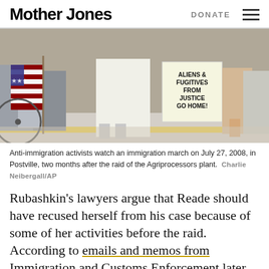Mother Jones   DONATE
[Figure (photo): Anti-immigration protesters at an immigration march, one holding an American flag and another holding a sign reading 'ALIENS & FUGITIVES FROM JUSTICE GO HOME!']
Anti-immigration activists watch an immigration march on July 27, 2008, in Postville, two months after the raid of the Agriprocessors plant.  Charlie Neibergall/AP
Rubashkin's lawyers argue that Reade should have recused herself from his case because of some of her activities before the raid. According to emails and memos from Immigration and Customs Enforcement later obtained by the defense